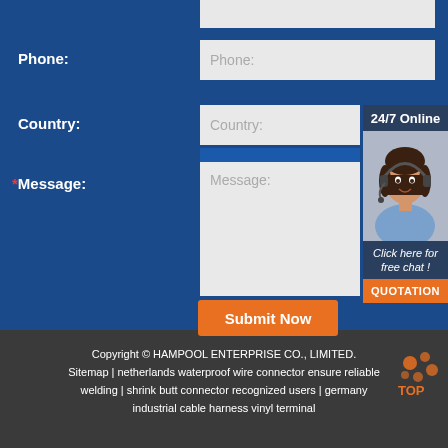[Figure (screenshot): Contact form with Phone, Country, and Message fields on a blue background, with a 24/7 Online chat widget showing a woman with headset]
Phone:
Country:
*Message:
24/7 Online
Click here for free chat !
QUOTATION
Submit Now
Copyright © HAMPOOL ENTERPRISE CO., LIMITED. Sitemap | netherlands waterproof wire connector ensure reliable welding | shrink butt connector recognized users | germany industrial cable harness vinyl terminal